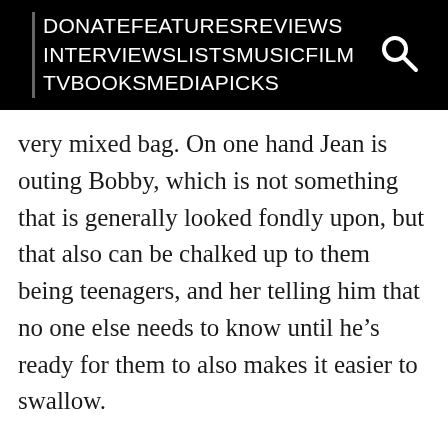DONATEFEATURESREVIEWS INTERVIEWSLISTSMUSICFILM TVBOOKSMEDIAPICKS
very mixed bag. On one hand Jean is outing Bobby, which is not something that is generally looked fondly upon, but that also can be chalked up to them being teenagers, and her telling him that no one else needs to know until he’s ready for them to also makes it easier to swallow.